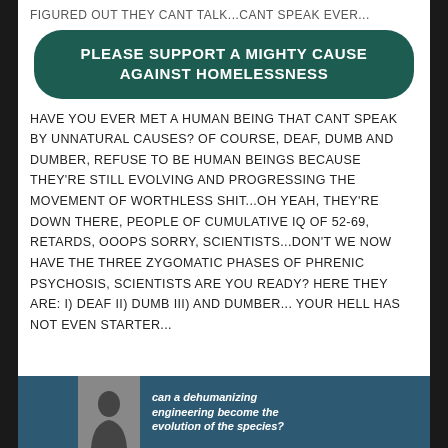FIGURED OUT THEY CANT TALK...CANT SPEAK EVER...
PLEASE SUPPORT A MIGHTY CAUSE AGAINST HOMELESSNESS
HAVE YOU EVER MET A HUMAN BEING THAT CANT SPEAK BY UNNATURAL CAUSES? OF COURSE, DEAF, DUMB AND DUMBER, REFUSE TO BE HUMAN BEINGS BECAUSE THEY'RE STILL EVOLVING AND PROGRESSING THE MOVEMENT OF WORTHLESS SHIT...OH YEAH, THEY'RE DOWN THERE, PEOPLE OF CUMULATIVE IQ OF 52-69, RETARDS, OOOPS SORRY, SCIENTISTS...DON'T WE NOW HAVE THE THREE ZYGOMATIC PHASES OF PHRENIC PSYCHOSIS, SCIENTISTS ARE YOU READY? HERE THEY ARE: i) DEAF ii) DUMB iii) AND DUMBER... YOUR HELL HAS NOT EVEN STARTER...
[Figure (photo): A woman's photo next to text reading 'can a dehumanizing engineering become the evolution of the species?']